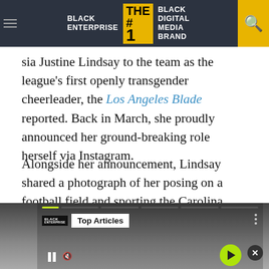BLACK ENTERPRISE THE #1 BLACK DIGITAL MEDIA BRAND
sia Justine Lindsay to the team as the league's first openly transgender cheerleader, the Los Angeles Blade reported. Back in March, she proudly announced her ground-breaking role herself via Instagram.
Alongside her announcement, Lindsay shared a photograph of her posing on a football field and sporting the Carolina Panthers' team logo.
[Figure (screenshot): Black Enterprise video card overlay showing 'Top Articles' badge with a black-and-white portrait photo of a woman, progress bar segments, pause and mute controls, forward arrow button, and close button]